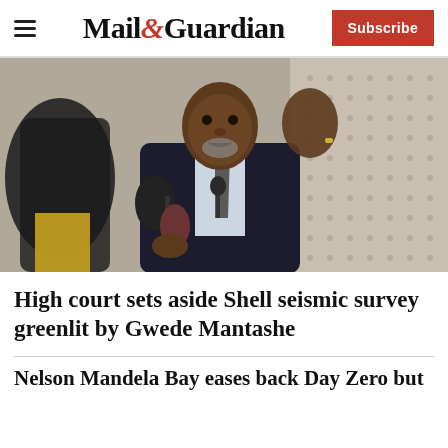Mail&Guardian — Subscribe
[Figure (photo): A man in a dark suit with a grey beard speaking at a press conference, gesturing with one hand, with microphones in front of him.]
High court sets aside Shell seismic survey greenlit by Gwede Mantashe
Nelson Mandela Bay eases back Day Zero but